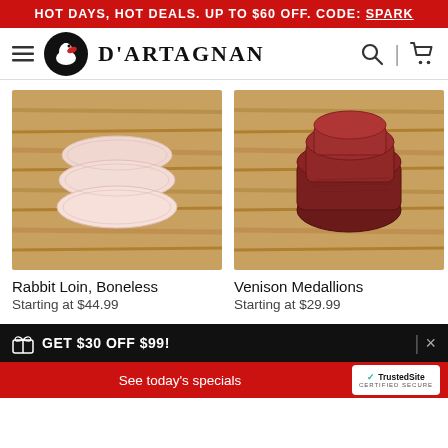HOT DAYS, HOT DEALS. UP TO $60 OFF. CODE: SPARK
[Figure (logo): D'Artagnan logo and navigation bar with hamburger menu, search icon, and shopping cart]
[Figure (photo): Rabbit Loin Boneless - three pale pink boneless rabbit loins on a wooden cutting board]
Rabbit Loin, Boneless
Starting at $44.99
[Figure (photo): Venison Medallions - sliced dark red venison medallions on a wooden cutting board]
Venison Medallions
Starting at $29.99
GET $30 OFF $99!
See today's specials  |  TrustedSite CERTIFIED SECURE